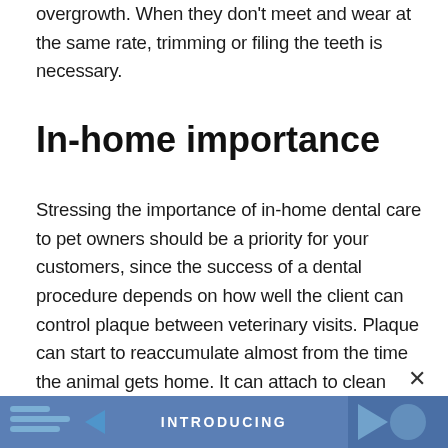overgrowth. When they don't meet and wear at the same rate, trimming or filing the teeth is necessary.
In-home importance
Stressing the importance of in-home dental care to pet owners should be a priority for your customers, since the success of a dental procedure depends on how well the client can control plaque between veterinary visits. Plaque can start to reaccumulate almost from the time the animal gets home. It can attach to clean teeth within 24 hours, start to form tartar after just three days, and gingivitis can start to develop after only two weeks. Sharing those facts with customers illustrates why consistent daily dental
[Figure (other): Blue banner at bottom with INTRODUCING text and decorative images on sides]